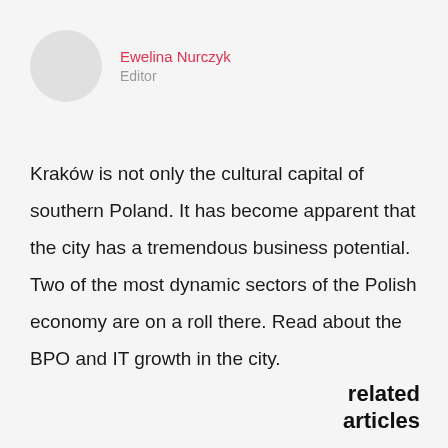Ewelina Nurczyk
Editor
Kraków is not only the cultural capital of southern Poland. It has become apparent that the city has a tremendous business potential. Two of the most dynamic sectors of the Polish economy are on a roll there. Read about the BPO and IT growth in the city.
related articles